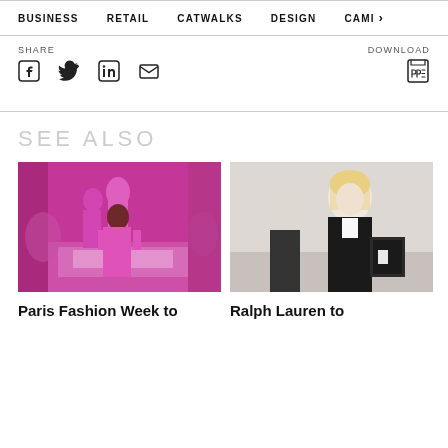BUSINESS   RETAIL   CATWALKS   DESIGN   CAMI >
SHARE   DOWNLOAD
[Figure (other): Fashion show catwalk image with models in pink dresses at Paris Fashion Week]
Paris Fashion Week to
[Figure (other): Ralph Lauren fashion show with blonde model in dark outfit]
Ralph Lauren to